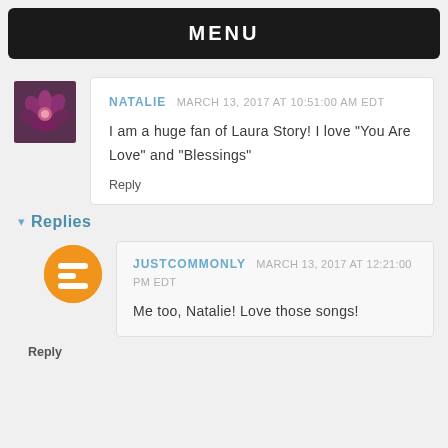MENU
NATALIE  MARCH 13, 2017 AT 10:51:00 AM EDT
I am a huge fan of Laura Story! I love "You Are Love" and "Blessings"
Reply
▾ Replies
JUSTCOMMONLY  MARCH 13, 2017 AT 12:21:00 PM EDT
Me too, Natalie! Love those songs!
Reply